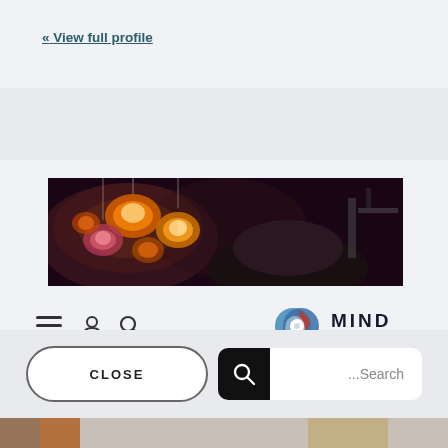« View full profile
[Figure (photo): Banner photo showing colorful illuminated light fixtures/lamps in warm tones, with a person's head partially visible against a dark background]
[Figure (logo): MIND Foundation logo — abstract geometric shape in blue and red with white circle, next to MIND FOUNDATION text]
CLOSE
...Search